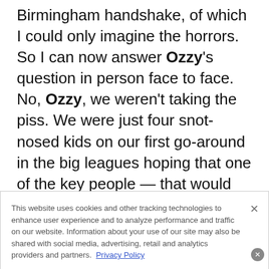Birmingham handshake, of which I could only imagine the horrors. So I can now answer Ozzy's question in person face to face. No, Ozzy, we weren't taking the piss. We were just four snot-nosed kids on our first go-around in the big leagues hoping that one of the key people — that would be you, Ozzy — responsible for bringing us to that soundcheck, to that stage, on that tour, would honor us in a moment of the planets
This website uses cookies and other tracking technologies to enhance user experience and to analyze performance and traffic on our website. Information about your use of our site may also be shared with social media, advertising, retail and analytics providers and partners. Privacy Policy
Do You Know What Plaque Psoriasis Is?
n/a